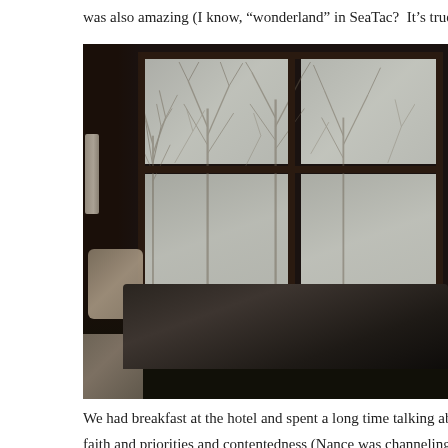was also amazing (I know, “wonderland” in SeaTac?  It’s true!).
[Figure (photo): Interior hotel room photo showing a large wooden-framed window divided into four panes, with bare winter trees visible outside through a foggy/overcast sky. In the foreground is an unmade bed with dark duvet and light-colored pillows/sheets. The room is dim with dark walls.]
We had breakfast at the hotel and spent a long time talking abo
faith and priorities and contentedness (Nance was channeling h